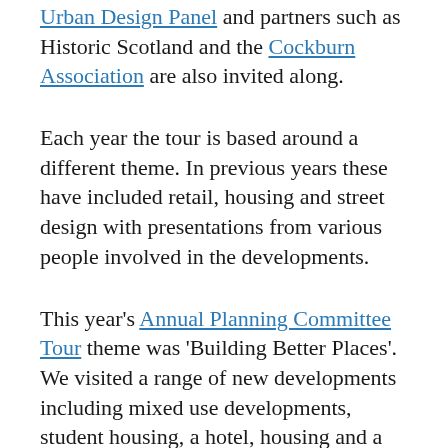Urban Design Panel and partners such as Historic Scotland and the Cockburn Association are also invited along.
Each year the tour is based around a different theme. In previous years these have included retail, housing and street design with presentations from various people involved in the developments.
This year's Annual Planning Committee Tour theme was 'Building Better Places'. We visited a range of new developments including mixed use developments, student housing, a hotel, housing and a care home with the aim of looking at what makes successful places.